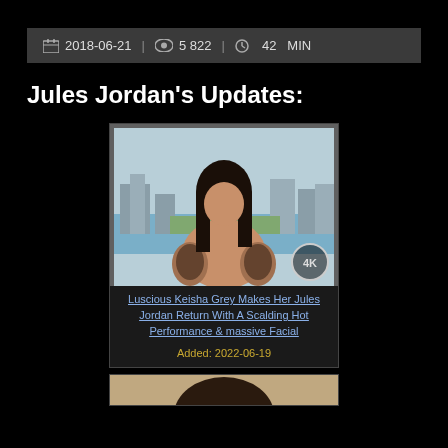2018-06-21 | 5 822 | 42 MIN
Jules Jordan's Updates:
[Figure (photo): Photo of a tattooed woman with dark hair, posing near a window with a city and water view in the background. A 4K badge is visible in the bottom right corner.]
Luscious Keisha Grey Makes Her Jules Jordan Return With A Scalding Hot Performance & massive Facial
Added: 2022-06-19
[Figure (photo): Partial photo showing the top of a person's head with dark hair, cropped at bottom of page.]